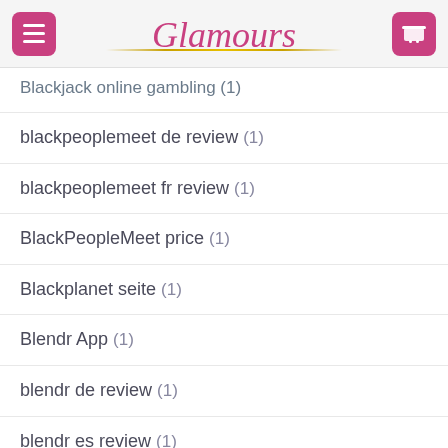Glamours
Blackjack online gambling (1)
blackpeoplemeet de review (1)
blackpeoplemeet fr review (1)
BlackPeopleMeet price (1)
Blackplanet seite (1)
Blendr App (1)
blendr de review (1)
blendr es review (1)
BLK company site (1)
blog (18)